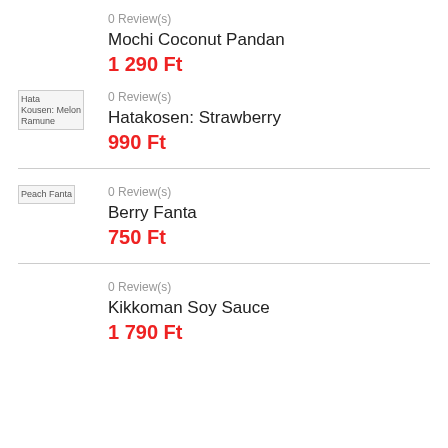0 Review(s)
Mochi Coconut Pandan
1 290 Ft
[Figure (illustration): Broken image placeholder for Hata Kousen: Melon Ramune]
0 Review(s)
Hatakosen: Strawberry
990 Ft
[Figure (illustration): Broken image placeholder for Peach Fanta]
0 Review(s)
Berry Fanta
750 Ft
0 Review(s)
Kikkoman Soy Sauce
1 790 Ft